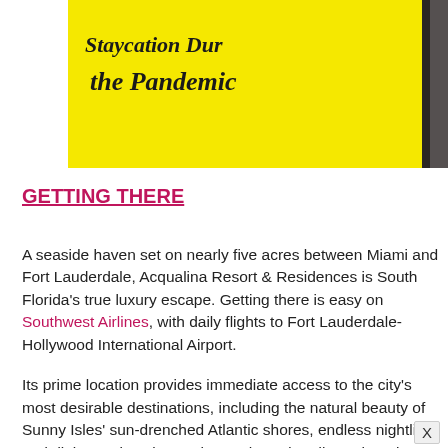[Figure (photo): Top portion of a travel/lifestyle article page showing a yellow panel with italic text partially visible reading 'the Pandemic' and a photo of a woman at an airport kiosk/ATM machine holding a pink handbag.]
GETTING THERE
A seaside haven set on nearly five acres between Miami and Fort Lauderdale, Acqualina Resort & Residences is South Florida's true luxury escape. Getting there is easy on Southwest Airlines, with daily flights to Fort Lauderdale-Hollywood International Airport.
Its prime location provides immediate access to the city's most desirable destinations, including the natural beauty of Sunny Isles' sun-drenched Atlantic shores, endless nightlife and dining options in South Beach, and endless shopping at the nearby Bal Harbour Shops